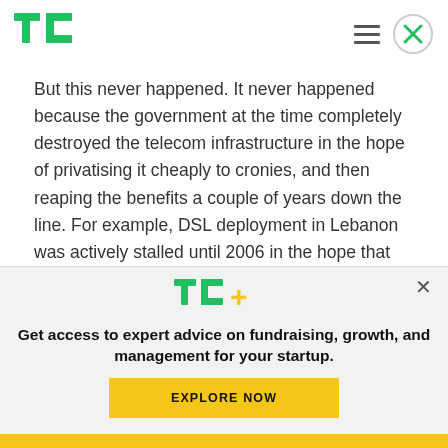[Figure (logo): TechCrunch TC green logo in top left header]
But this never happened. It never happened because the government at the time completely destroyed the telecom infrastructure in the hope of privatising it cheaply to cronies, and then reaping the benefits a couple of years down the line. For example, DSL deployment in Lebanon was actively stalled until 2006 in the hope that this privatisation
[Figure (logo): TC+ logo in green and yellow, overlay banner]
Get access to expert advice on fundraising, growth, and management for your startup.
EXPLORE NOW